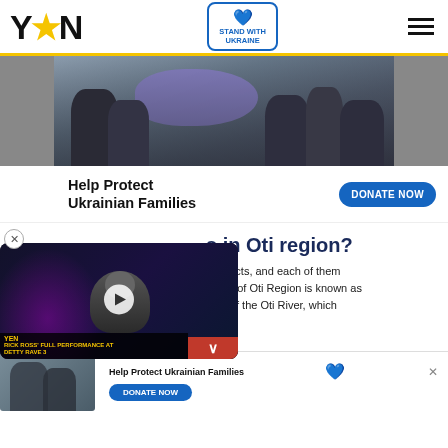YEN — Stand With Ukraine
[Figure (photo): A group of people in winter clothing carrying a person wrapped in a purple blanket amid rubble, depicting a conflict/humanitarian crisis scene.]
Help Protect Ukrainian Families
DONATE NOW
[Figure (screenshot): Video overlay thumbnail showing a performer under neon lights, labeled 'RICK ROSS' FULL PERFORMANCE AT DETTY RAVE 3' with a play button and YEN branding.]
s in Oti region?
t districts, and each of them al city of Oti Region is known as east of the Oti River, which
[Figure (photo): Small thumbnail showing people in winter clothing, related to article content.]
Help Protect Ukrainian Families
DONATE NOW